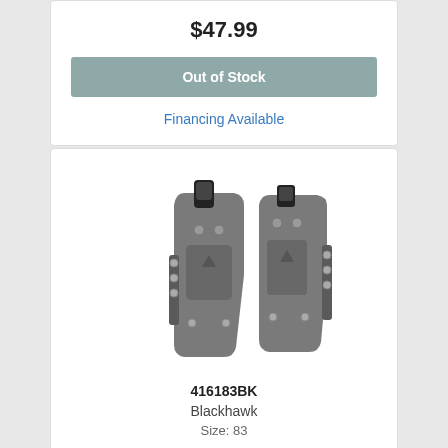$47.99
Out of Stock
Financing Available
[Figure (photo): Two black polymer holsters side by side — one full holster and one magazine carrier — made by Blackhawk, product 416183BK.]
416183BK
Blackhawk
Size: 83
$47.99